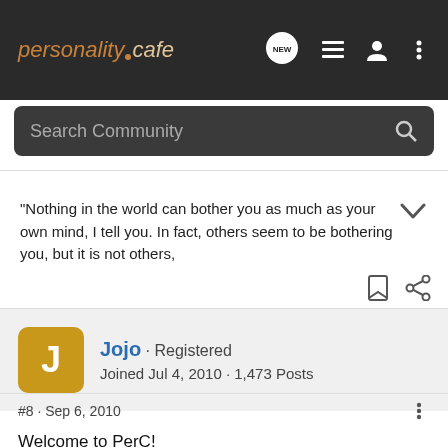personalitycafe
Search Community
"Nothing in the world can bother you as much as your own mind, I tell you. In fact, others seem to be bothering you, but it is not others,
Jojo · Registered
Joined Jul 4, 2010 · 1,473 Posts
#8 · Sep 6, 2010
Welcome to PerC!